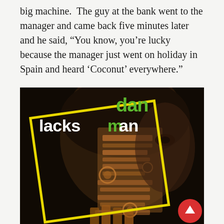big machine.  The guy at the bank went to the manager and came back five minutes later and he said, “You know, you’re lucky because the manager just went on holiday in Spain and heard ‘Coconut’ everywhere.”
[Figure (illustration): Album cover for 'Dan Lacksman' featuring a dark background with a stylized face/head, a tilted yellow rectangle frame overlaid, and text reading 'dan' in green and 'lacksman' in white/green mixed lettering.]